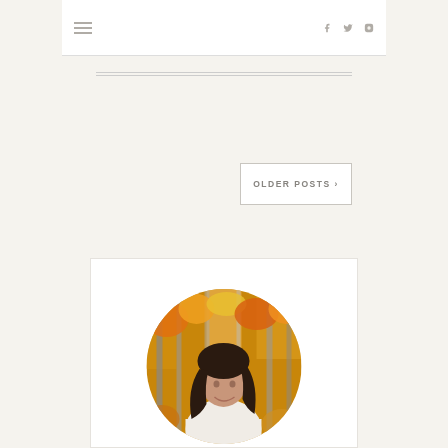Navigation menu with hamburger icon and social media icons (Facebook, Twitter, Instagram)
OLDER POSTS ›
[Figure (photo): Circular portrait photo of a woman with dark hair wearing a white sweater, smiling in an autumn forest with orange and yellow foliage]